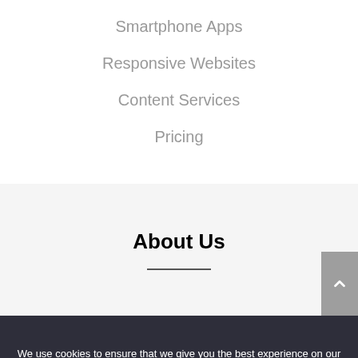Smartphone Apps
Responsive Websites
Content Services
Pricing
About Us
We use cookies to ensure that we give you the best experience on our website.